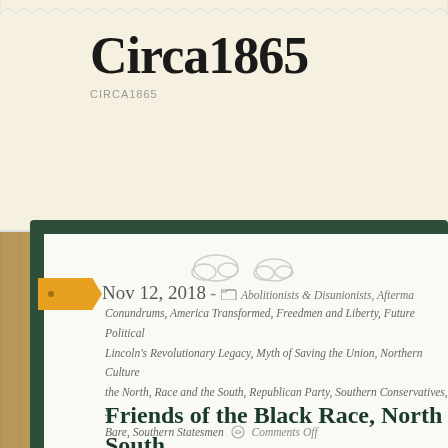Circa1865
CIRCA1865
Nov 12, 2018 - Abolitionists & Disunionists, Afterma... Conundrums, America Transformed, Freedmen and Liberty, Future Political... Lincoln's Revolutionary Legacy, Myth of Saving the Union, Northern Culture... the North, Race and the South, Republican Party, Southern Conservatives, S... Bare, Southern Statesmen
Comments Off
Friends of the Black Race, North and South
Former North Carolina Governor and then Senator Zebulon Vance s...